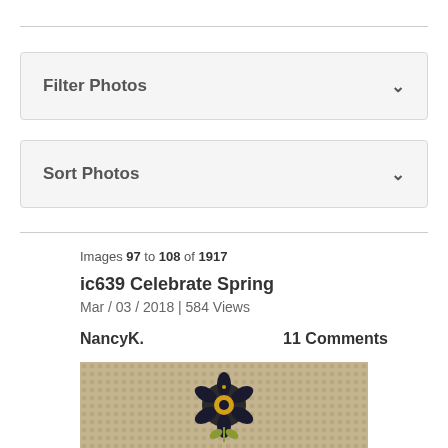Filter Photos
Sort Photos
Images 97 to 108 of 1917
ic639 Celebrate Spring
Mar / 03 / 2018 | 584 Views
NancyK.
11 Comments
[Figure (photo): Photograph of a handmade card with a textured beige/tan background featuring a small floral embellishment with dark petals and yellow accents in the center]